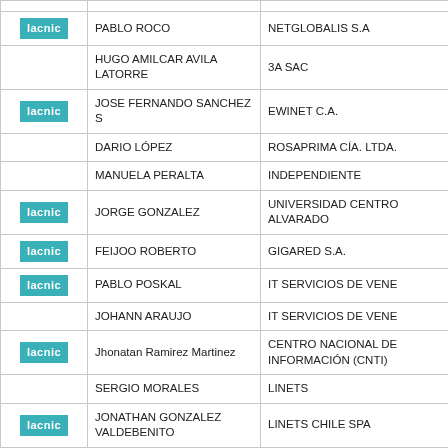|  | Name | Organization |
| --- | --- | --- |
|  |  |  |
| lacnic | PABLO ROCO | NETGLOBALIS S.A |
|  | HUGO AMILCAR AVILA LATORRE | 3A SAC |
| lacnic | JOSE FERNANDO SANCHEZ S | EWINET C.A. |
|  | DARIO LÓPEZ | ROSAPRIMA CÍA. LTDA. |
|  | MANUELA PERALTA | INDEPENDIENTE |
| lacnic | JORGE GONZALEZ | UNIVERSIDAD CENTRO ALVARADO |
| lacnic | FEIJOO ROBERTO | GIGARED S.A. |
| lacnic | PABLO POSKAL | IT SERVICIOS DE VENE |
|  | JOHANN ARAUJO | IT SERVICIOS DE VENE |
| lacnic | Jhonatan Ramirez Martinez | CENTRO NACIONAL DE INFORMACIÓN (CNTI) |
|  | SERGIO MORALES | LINETS |
| lacnic | JONATHAN GONZALEZ VALDEBENITO | LINETS CHILE SPA |
|  |  |  |